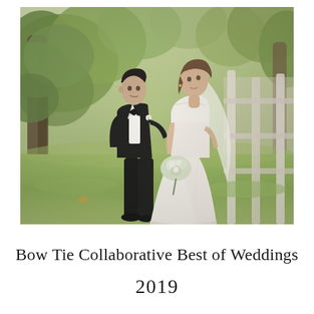[Figure (photo): Wedding photo of a couple — groom in black tuxedo with bow tie, bride in white strapless mermaid gown holding a bouquet — walking together outdoors under leafy green trees on a sunny day]
Bow Tie Collaborative Best of Weddings
2019